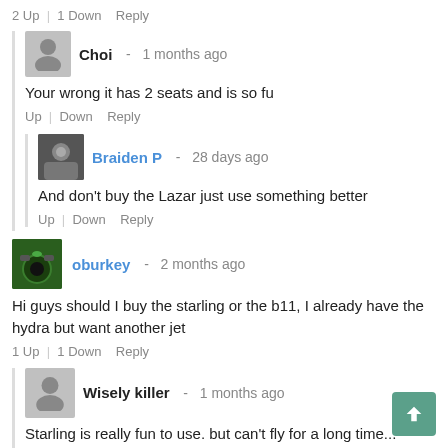2 Up | 1 Down   Reply
Choi - 1 months ago
Your wrong it has 2 seats and is so fu
Up | Down   Reply
Braiden P - 28 days ago
And don't buy the Lazar just use something better
Up | Down   Reply
oburkey - 2 months ago
Hi guys should I buy the starling or the b11, I already have the hydra but want another jet
1 Up | 1 Down   Reply
Wisely killer - 1 months ago
Starling is really fun to use. but can't fly for a long time...
Up | Down   Reply